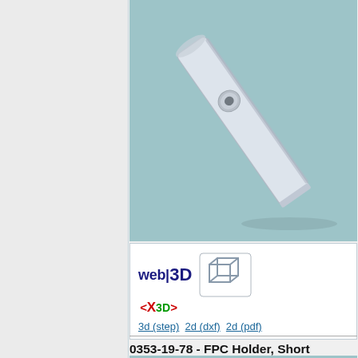[Figure (engineering-diagram): 3D CAD render of a long flat rectangular bracket/holder part with a countersunk hole, shown at an oblique angle on a teal/light blue background]
[Figure (logo): web3D X3D logo with cube wireframe icon, and download links: 3d (step), 2d (dxf), 2d (pdf)]
0353-19-78 - FPC Holder, Short
[Figure (engineering-diagram): Partial 3D CAD render of another FPC Holder part, cropped at bottom of page, showing a rounded metallic component on teal background]